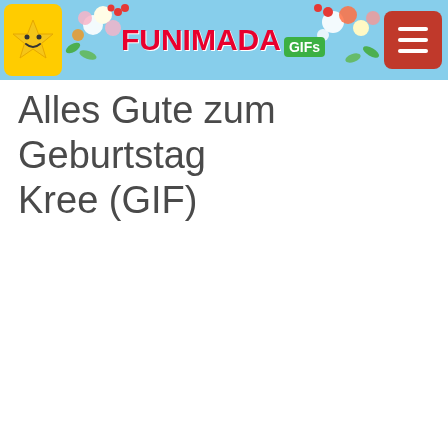FUNIMADA GIFs
Alles Gute zum Geburtstag Kree (GIF)